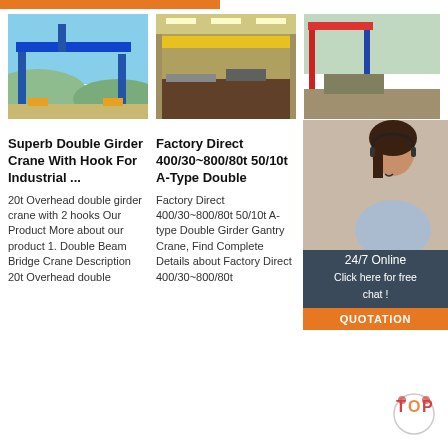[Figure (photo): Blue double girder gantry crane outdoors against sky and hills]
[Figure (photo): Yellow overhead bridge crane inside industrial factory building]
[Figure (photo): Colorful double girder crane at construction site]
Superb Double Girder Crane With Hook For Industrial ...
20t Overhead double girder crane with 2 hooks Our Product More about our product 1. Double Beam Bridge Crane Description 20t Overhead double
Factory Direct 400/30~800/80t 50/10t A-Type Double
Factory Direct 400/30~800/80t 50/10t A-type Double Girder Gantry Crane, Find Complete Details about Factory Direct 400/30~800/80t
Double Girder Overhead... View Our Electric ...
double girders overhead crane, US $ 3465 - 3762 Set, No limited, Bridge Crane, Farm, Construction works, Energy & Mining.Source from
[Figure (photo): Customer service agent with headset, 24/7 online chat overlay with quotation button]